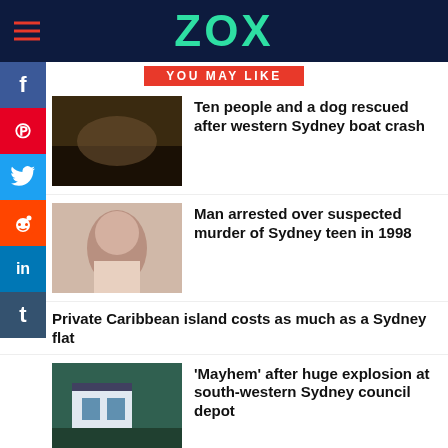ZOX
YOU MAY LIKE
Ten people and a dog rescued after western Sydney boat crash
Man arrested over suspected murder of Sydney teen in 1998
Private Caribbean island costs as much as a Sydney flat
'Mayhem' after huge explosion at south-western Sydney council depot
Sydney commuters set for another day of delays amid industrial action